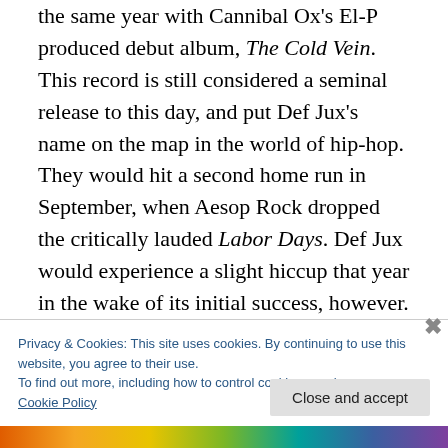the same year with Cannibal Ox's El-P produced debut album, The Cold Vein. This record is still considered a seminal release to this day, and put Def Jux's name on the map in the world of hip-hop. They would hit a second home run in September, when Aesop Rock dropped the critically lauded Labor Days. Def Jux would experience a slight hiccup that year in the wake of its initial success, however. Def Jam Recordings sued over the similarities in name. This was eventually settled out of court, and
Privacy & Cookies: This site uses cookies. By continuing to use this website, you agree to their use.
To find out more, including how to control cookies, see here: Cookie Policy